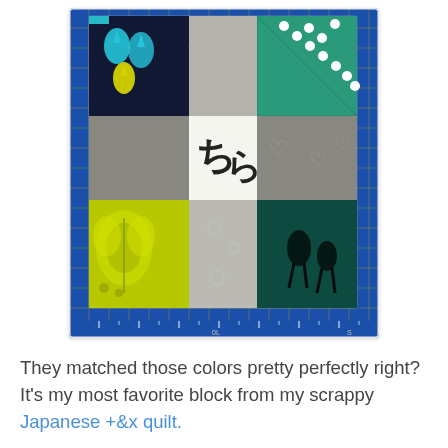[Figure (photo): A colorful scrappy quilt block photographed on a blue cutting mat with yellow grid lines. The quilt block features a plus/cross pattern in white/cream at the center, surrounded by various patterned fabric squares: dark navy with teal water drop prints, teal solid, gray with white heart/floral outlines, green with white polka dots, yellow-green with decorative moth/butterfly print, dark teal with black silhouette figures, and white fabric with Japanese calligraphy characters in black.]
They matched those colors pretty perfectly right? It's my most favorite block from my scrappy Japanese +&x quilt.